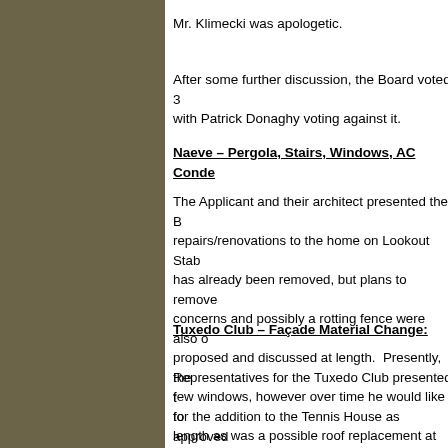Mr. Klimecki was apologetic.
After some further discussion, the Board voted 3 with Patrick Donaghy voting against it.
Naeve – Pergola, Stairs, Windows, AC Conde...
The Applicant and their architect presented the B repairs/renovations to the home on Lookout Stab has already been removed, but plans to remove concerns and possibly a rotting fence were also proposed and discussed at length. Presently, the few windows, however over time he would like to length as was a possible roof replacement at sor and rough specs were created on site, after whic of approving the application.
Tuxedo Club – Façade Material Change:
Representatives for the Tuxedo Club presented t for the addition to the Tennis House as approved for brick and the applicant would like to change th minimal discussion, the Board voted unanimoush Because The Tuxedo Club is a commercial enter Form (EAF) will need to be completed before the